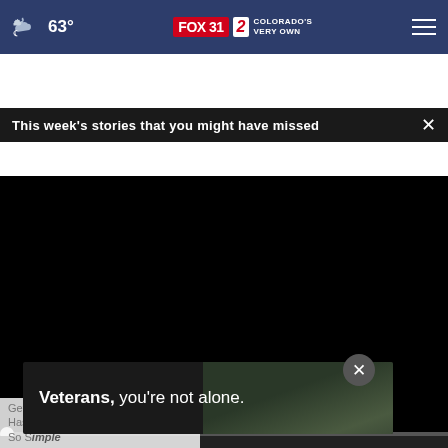63° FOX 31 2 COLORADO'S VERY OWN
This week's stories that you might have missed
[Figure (screenshot): Video player with black screen, seek bar at start (00:00), play button, mute button, timestamp 00:00, captions icon, and fullscreen icon on dark control bar]
[Figure (photo): Partial thumbnail image of hands, article preview below video]
Veterans, you're not alone.
Getting Screen Time Under Control Has Never Been
So Simple